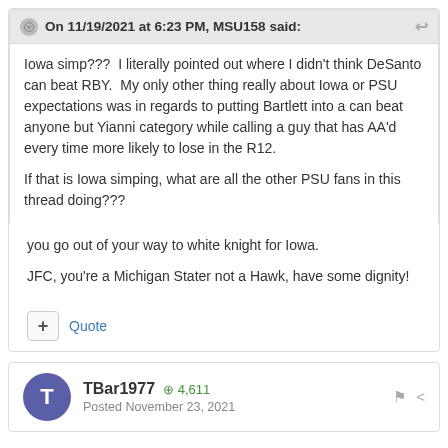On 11/19/2021 at 6:23 PM, MSU158 said:
Iowa simp???  I literally pointed out where I didn't think DeSanto can beat RBY.  My only other thing really about Iowa or PSU expectations was in regards to putting Bartlett into a can beat anyone but Yianni category while calling a guy that has AA'd every time more likely to lose in the R12.

If that is Iowa simping, what are all the other PSU fans in this thread doing???
you go out of your way to white knight for Iowa.

JFC, you're a Michigan Stater not a Hawk, have some dignity!
+ Quote
TBar1977  +4,611
Posted November 23, 2021